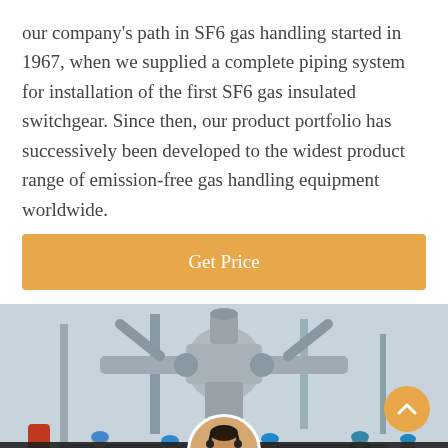our company's path in SF6 gas handling started in 1967, when we supplied a complete piping system for installation of the first SF6 gas insulated switchgear. Since then, our product portfolio has successively been developed to the widest product range of emission-free gas handling equipment worldwide.
Get Price
[Figure (photo): Industrial workers in blue hard hats standing near large gray SF6 gas handling piping and switchgear equipment outdoors.]
Leave Message
Chat Online